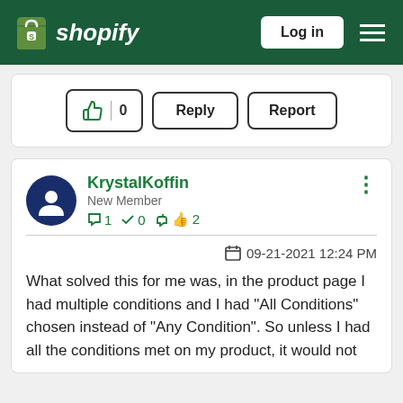Shopify — Log in
[Figure (screenshot): Action buttons row with thumbs up (0), Reply, and Report buttons]
KrystalKoffin
New Member
1 message, 0 accepted, 2 likes
09-21-2021 12:24 PM
What solved this for me was, in the product page I had multiple conditions and I had "All Conditions" chosen instead of "Any Condition".  So unless I had all the conditions met on my product, it would not